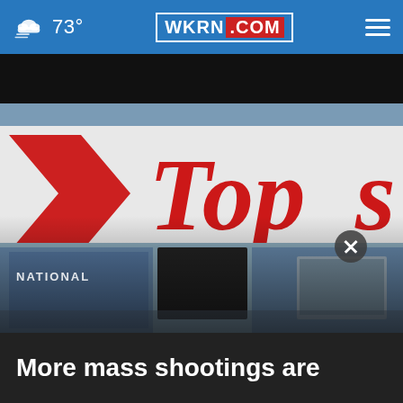73° WKRN.COM
[Figure (photo): Exterior photo of a Tops grocery store showing the red and white Tops sign with storefront below. Dark band at top. Scene is slightly blurry/out of focus.]
NATIONAL
More mass shootings are